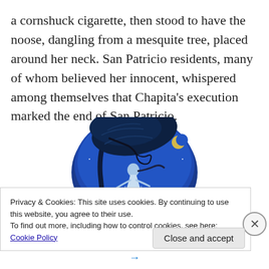a cornshuck cigarette, then stood to have the noose, dangling from a mesquite tree, placed around her neck. San Patricio residents, many of whom believed her innocent, whispered among themselves that Chapita's execution marked the end of San Patricio.
[Figure (illustration): Stylized illustration of a woman in a white flowing dress standing beneath a dark tree with large leaves, under a blue night sky with stars and a crescent moon. A howling wolf/coyote silhouette is visible in the background.]
Privacy & Cookies: This site uses cookies. By continuing to use this website, you agree to their use.
To find out more, including how to control cookies, see here: Cookie Policy